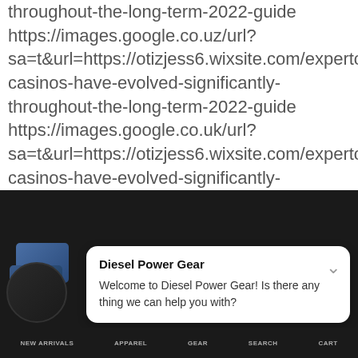throughout-the-long-term-2022-guide
https://images.google.co.uz/url?
sa=t&url=https://otizjess6.wixsite.com/expertcasin
casinos-have-evolved-significantly-
throughout-the-long-term-2022-guide
https://images.google.co.uk/url?
sa=t&url=https://otizjess6.wixsite.com/expertcasin
casinos-have-evolved-significantly-
throughout-the-long-term-2022-guide
https://images.google.co.ug/url?
sa=t&url=https://otizjess6.wixsite.com/expertcasin
casinos-have-evolved-significantly-
throughout-the-long-term-2022-guide
https://images.google.co.tz/url?
[Figure (screenshot): Chat widget popup from Diesel Power Gear with welcome message: 'Welcome to Diesel Power Gear! Is there any thing we can help you with?' overlaid on dark background with avatar images and navigation bar.]